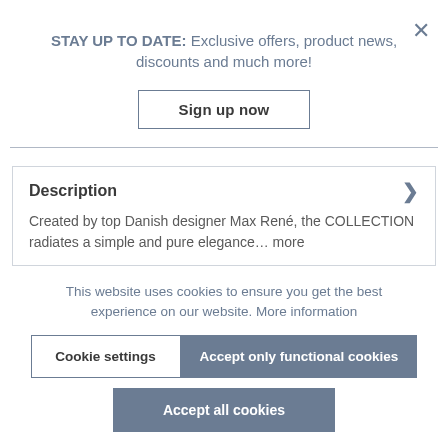X
STAY UP TO DATE: Exclusive offers, product news, discounts and much more!
Sign up now
Description
Created by top Danish designer Max René, the COLLECTION radiates a simple and pure elegance… more
This website uses cookies to ensure you get the best experience on our website. More information
Cookie settings
Accept only functional cookies
Accept all cookies